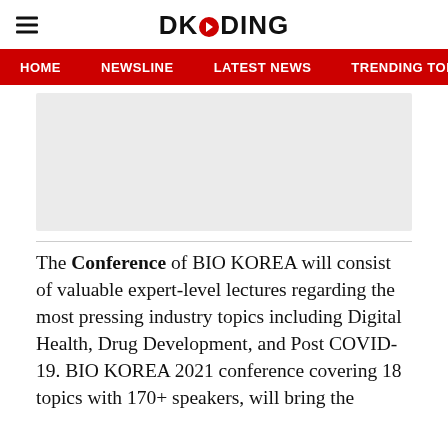DKODING
HOME  NEWSLINE  LATEST NEWS  TRENDING TODAY  ENT
[Figure (other): Advertisement placeholder gray box]
The Conference of BIO KOREA will consist of valuable expert-level lectures regarding the most pressing industry topics including Digital Health, Drug Development, and Post COVID-19. BIO KOREA 2021 conference covering 18 topics with 170+ speakers, will bring the